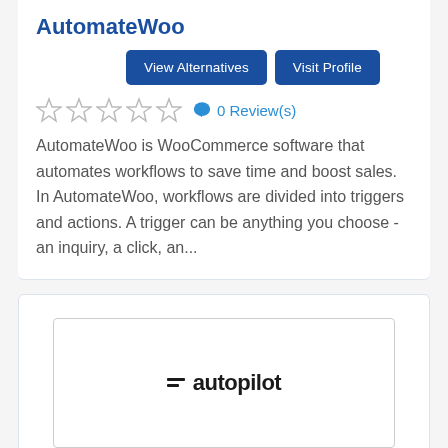AutomateWoo
View Alternatives | Visit Profile
0 Review(s)
AutomateWoo is WooCommerce software that automates workflows to save time and boost sales. In AutomateWoo, workflows are divided into triggers and actions. A trigger can be anything you choose - an inquiry, a click, an...
[Figure (logo): Autopilot logo with two horizontal lines and the text 'autopilot' in bold]